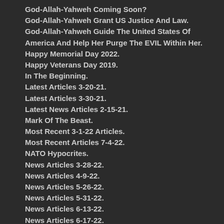God-Allah-Yahweh Coming Soon?
God-Allah-Yahweh Grant US Justice And Law.
God-Allah-Yahweh Guide The United States Of America And Help Her Purge The EVIL Within Her.
Happy Memorial Day 2022.
Happy Veterans Day 2019.
In The Beginning.
Latest Articles 3-20-21.
Latest Articles 3-30-21.
Latest News Articles 2-15-21.
Mark Of The Beast.
Most Recent 3-1-22 Articles.
Most Recent Articles 7-4-22.
NATO Hypocrites.
News Articles 3-28-22.
News Articles 4-9-22.
News Articles 5-26-22.
News Articles 5-31-22.
News Articles 6-13-22.
News Articles 6-17-22.
News Articles 6-21-22.
News Articles 6-25-22.
News Articles 6-27-22.